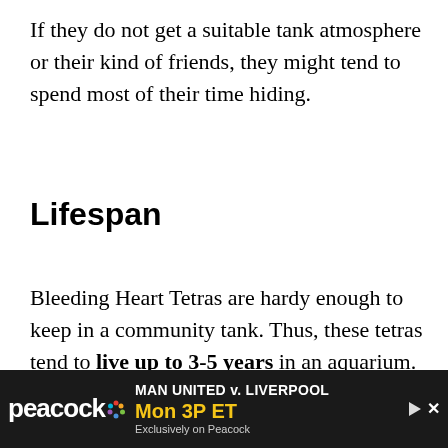If they do not get a suitable tank atmosphere or their kind of friends, they might tend to spend most of their time hiding.
Lifespan
Bleeding Heart Tetras are hardy enough to keep in a community tank. Thus, these tetras tend to live up to 3-5 years in an aquarium.
However, the life expectancy is dependent
[Figure (other): Advertisement banner for Peacock streaming service showing 'MAN UNITED v. LIVERPOOL Mon 3P ET Exclusively on Peacock']